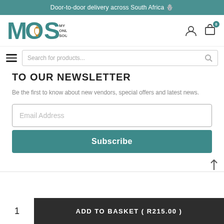Door-to-door delivery across South Africa 🪬
[Figure (logo): MOS My Online Souk.com logo with teal lettering and lantern in O]
TO OUR NEWSLETTER
Be the first to know about new vendors, special offers and latest news.
Email Address
Subscribe
ADD TO BASKET ( R215.00 )